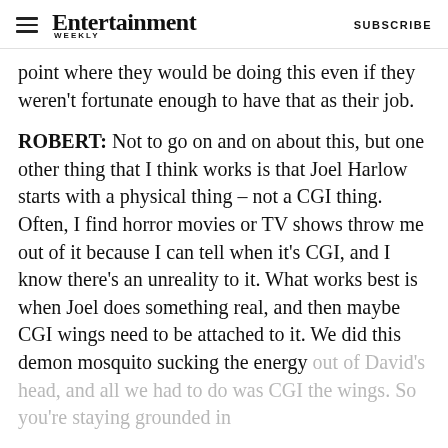Entertainment Weekly  SUBSCRIBE
point where they would be doing this even if they weren't fortunate enough to have that as their job.
ROBERT: Not to go on and on about this, but one other thing that I think works is that Joel Harlow starts with a physical thing – not a CGI thing. Often, I find horror movies or TV shows throw me out of it because I can tell when it's CGI, and I know there's an unreality to it. What works best is when Joel does something real, and then maybe CGI wings need to be attached to it. We did this demon mosquito sucking the energy out of David's head, and all we had to do was CGI the wings. So you're staying grounded in